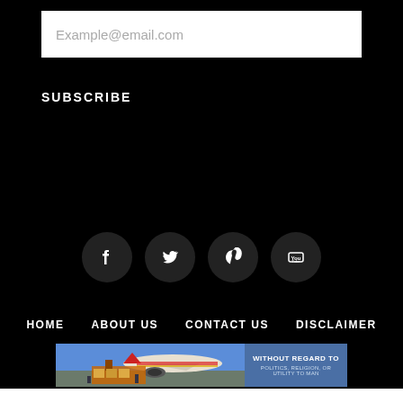Example@email.com
SUBSCRIBE
[Figure (infographic): Four social media icon buttons (Facebook, Twitter, Pinterest, YouTube) displayed as dark circles with white icons]
HOME   ABOUT US   CONTACT US   DISCLAIMER
[Figure (photo): Advertisement banner showing an airplane being loaded with cargo at an airport, with text panel reading WITHOUT REGARD TO POLITICS, RELIGION, OR UTILITY TO MAN]